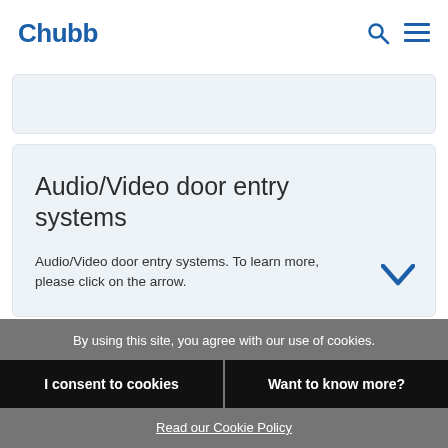Chubb
[Figure (screenshot): Empty light blue content card, partially visible]
Audio/Video door entry systems
Audio/Video door entry systems. To learn more, please click on the arrow.
By using this site, you agree with our use of cookies.
I consent to cookies
Want to know more?
Read our Cookie Policy